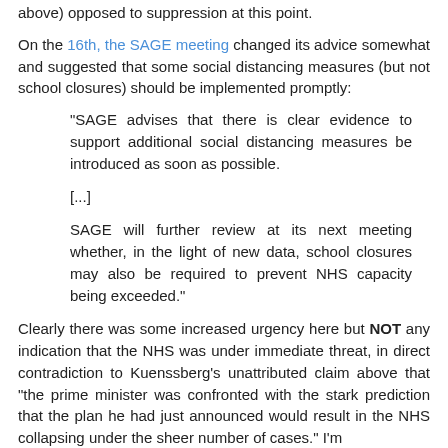above) opposed to suppression at this point.
On the 16th, the SAGE meeting changed its advice somewhat and suggested that some social distancing measures (but not school closures) should be implemented promptly:
“SAGE advises that there is clear evidence to support additional social distancing measures be introduced as soon as possible.
[...]
SAGE will further review at its next meeting whether, in the light of new data, school closures may also be required to prevent NHS capacity being exceeded.”
Clearly there was some increased urgency here but NOT any indication that the NHS was under immediate threat, in direct contradiction to Kuenssberg’s unattributed claim above that “the prime minister was confronted with the stark prediction that the plan he just announced would result in the NHS collapsing under the sheer number of cases.” I’m